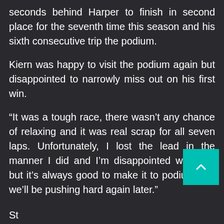seconds behind Harper to finish in second place for the seventh time this season and his sixth consecutive trip the podium.
Kiern was happy to visit the podium again but disappointed to narrowly miss out on his first win.
“It was a tough race, there wasn’t any chance of relaxing and it was real scrap for all seven laps. Unfortunately, I lost the lead in the manner I did and I’m disappointed with that but it’s always good to make it to podium and we’ll be pushing hard again later.”
St...